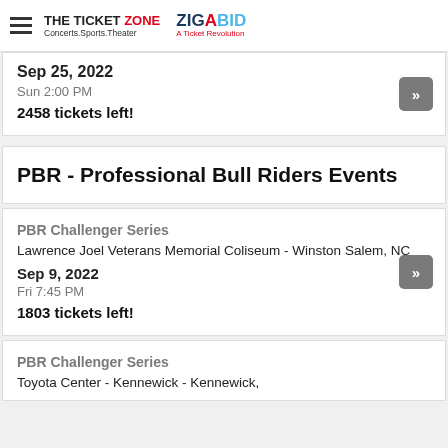THE TICKET ZONE Concerts.Sports.Theater | ZIGABID A Ticket Revolution
Sep 25, 2022
Sun 2:00 PM
2458 tickets left!
PBR - Professional Bull Riders Events
PBR Challenger Series
Lawrence Joel Veterans Memorial Coliseum - Winston Salem, NC
Sep 9, 2022
Fri 7:45 PM
1803 tickets left!
PBR Challenger Series
Toyota Center - Kennewick - Kennewick,